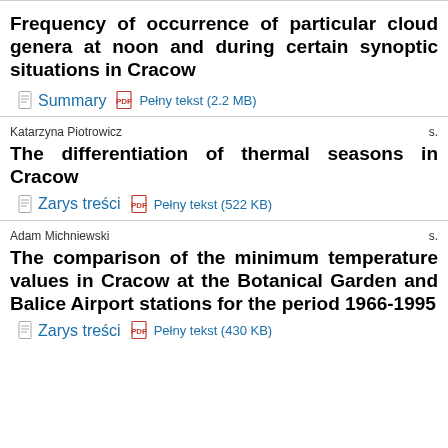Frequency of occurrence of particular cloud genera at noon and during certain synoptic situations in Cracow
Summary   Pełny tekst (2.2 MB)
Katarzyna Piotrowicz
The differentiation of thermal seasons in Cracow
Zarys treści   Pełny tekst (522 KB)
Adam Michniewski
The comparison of the minimum temperature values in Cracow at the Botanical Garden and Balice Airport stations for the period 1966-1995
Zarys treści   Pełny tekst (430 KB)